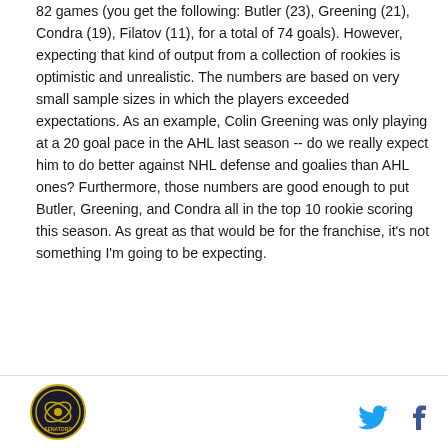82 games (you get the following: Butler (23), Greening (21), Condra (19), Filatov (11), for a total of 74 goals). However, expecting that kind of output from a collection of rookies is optimistic and unrealistic. The numbers are based on very small sample sizes in which the players exceeded expectations. As an example, Colin Greening was only playing at a 20 goal pace in the AHL last season -- do we really expect him to do better against NHL defense and goalies than AHL ones? Furthermore, those numbers are good enough to put Butler, Greening, and Condra all in the top 10 rookie scoring this season. As great as that would be for the franchise, it's not something I'm going to be expecting.
[Figure (logo): Circular team logo with hockey imagery]
[Figure (other): Twitter bird icon and Facebook f icon for social sharing]